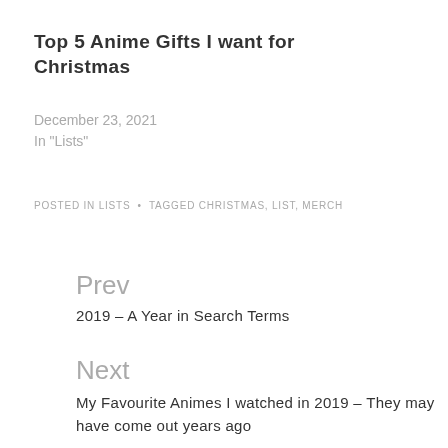Top 5 Anime Gifts I want for Christmas
December 23, 2021
In "Lists"
POSTED IN LISTS • TAGGED CHRISTMAS, LIST, MERCH
Prev
2019 – A Year in Search Terms
Next
My Favourite Animes I watched in 2019 – They may have come out years ago